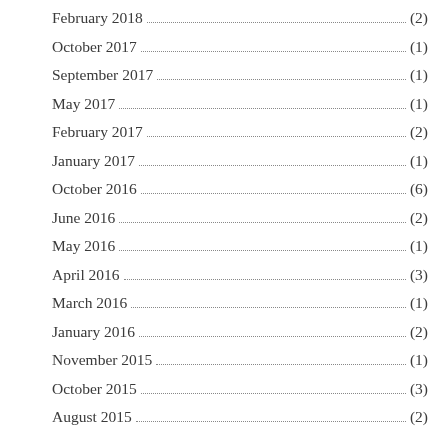February 2018 (2)
October 2017 (1)
September 2017 (1)
May 2017 (1)
February 2017 (2)
January 2017 (1)
October 2016 (6)
June 2016 (2)
May 2016 (1)
April 2016 (3)
March 2016 (1)
January 2016 (2)
November 2015 (1)
October 2015 (3)
August 2015 (2)